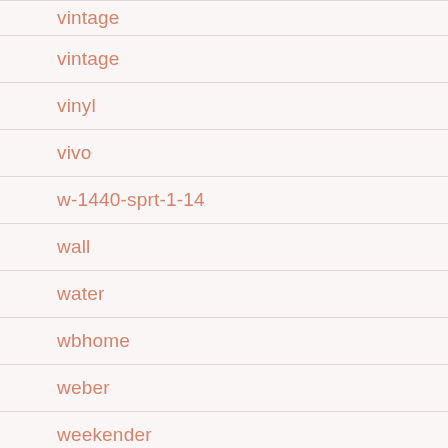vintage
vinyl
vivo
w-1440-sprt-1-14
wall
water
wbhome
weber
weekender
weigh